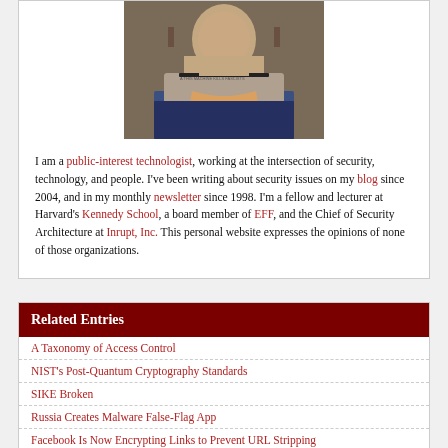[Figure (photo): A bearded man sitting behind a laptop computer with a sticker reading 'THIS MACHINE KILLS FASCISTS', wearing a blue jacket.]
I am a public-interest technologist, working at the intersection of security, technology, and people. I've been writing about security issues on my blog since 2004, and in my monthly newsletter since 1998. I'm a fellow and lecturer at Harvard's Kennedy School, a board member of EFF, and the Chief of Security Architecture at Inrupt, Inc. This personal website expresses the opinions of none of those organizations.
Related Entries
A Taxonomy of Access Control
NIST's Post-Quantum Cryptography Standards
SIKE Broken
Russia Creates Malware False-Flag App
Facebook Is Now Encrypting Links to Prevent URL Stripping
NIST Announces First Four Quantum-Resistant Cryptographic